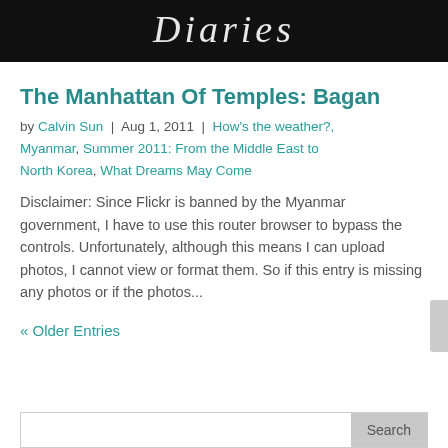[Figure (photo): Black background header image with cursive white text logo]
The Manhattan Of Temples: Bagan
by Calvin Sun | Aug 1, 2011 | How's the weather?, Myanmar, Summer 2011: From the Middle East to North Korea, What Dreams May Come
Disclaimer: Since Flickr is banned by the Myanmar government, I have to use this router browser to bypass the controls. Unfortunately, although this means I can upload photos, I cannot view or format them. So if this entry is missing any photos or if the photos...
« Older Entries